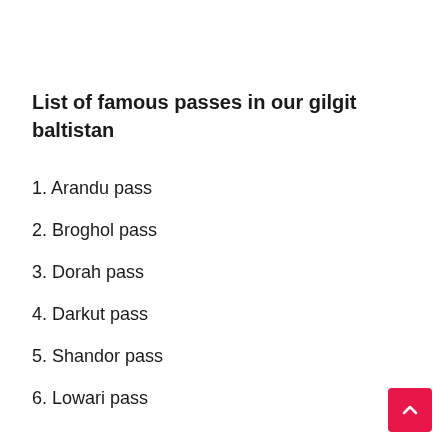List of famous passes in our gilgit baltistan
1. Arandu pass
2. Broghol pass
3. Dorah pass
4. Darkut pass
5. Shandor pass
6. Lowari pass